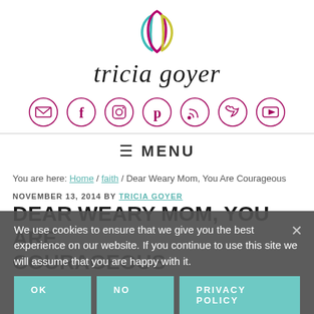[Figure (logo): Tricia Goyer blog logo: stylized overlapping leaf/petal shapes in teal, magenta, and yellow-green, with cursive brand name 'tricia goyer' below]
[Figure (infographic): Row of seven social media icon circles (mail, facebook, instagram, pinterest, rss, twitter, youtube) in magenta outline style]
≡ MENU
You are here: Home / faith / Dear Weary Mom, You Are Courageous
We use cookies to ensure that we give you the best experience on our website. If you continue to use this site we will assume that you are happy with it.
NOVEMBER 13, 2014 BY TRICIA GOYER
DEAR WEARY MOM, YOU ARE COURAGEOUS